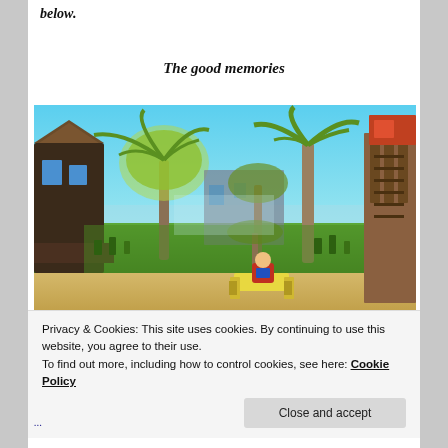below.
The good memories
[Figure (screenshot): A colorful voxel/block-style video game scene showing a tropical beach with palm trees, wooden structures with ladders, green grass, sandy ground, and a character sitting on a lounge chair in the foreground. The background shows a misty blue sky and ocean.]
Privacy & Cookies: This site uses cookies. By continuing to use this website, you agree to their use.
To find out more, including how to control cookies, see here: Cookie Policy
Close and accept
...